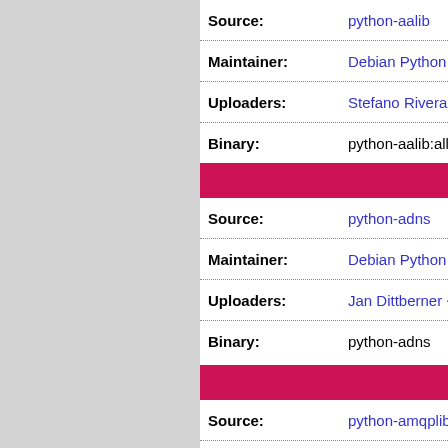| Field | Value |
| --- | --- |
| Source: | python-aalib |
| Maintainer: | Debian Python Mo... |
| Uploaders: | Stefano Rivera <s... |
| Binary: | python-aalib:all |
| Source: | python-adns |
| Maintainer: | Debian Python Mo... |
| Uploaders: | Jan Dittberner <ja... |
| Binary: | python-adns |
| Source: | python-amqplib |
| Maintainer: | Mikhail Gusarov <... |
| Uploaders: | Debian Python Mo... |
| Binary: | python-amqplib:al... |